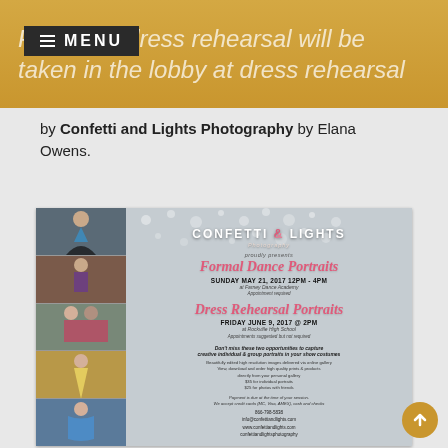Photos at dress rehearsal will be taken in the lobby at dress rehearsal by Confetti and Lights Photography by Elana Owens.
by Confetti and Lights Photography by Elana Owens.
[Figure (photo): Promotional flyer for Confetti and Lights Photography showing dance portrait sessions. Left side has 5 dance photos; right side has the Confetti and Lights logo, event details for Formal Dance Portraits on Sunday May 21, 2017 12PM-4PM at Farney Dance Academy and Dress Rehearsal Portraits on Friday June 9, 2017 @ 2PM at Rockville High School, with pricing and contact information.]